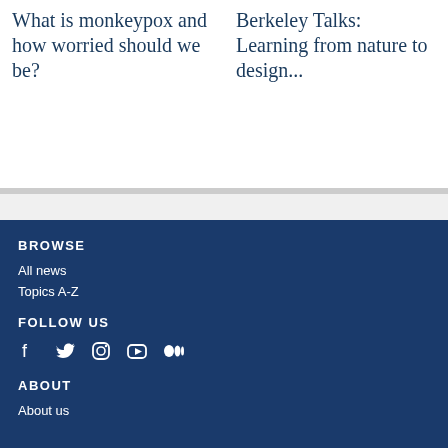What is monkeypox and how worried should we be?
Berkeley Talks: Learning from nature to design...
BROWSE
All news
Topics A-Z
FOLLOW US
[Figure (infographic): Social media icons: Facebook, Twitter, Instagram, YouTube, Medium]
ABOUT
About us